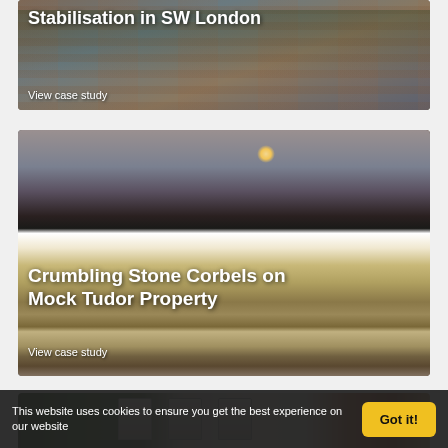[Figure (photo): Photograph of a red-brick building in SW London with trees in foreground, used as background for case study card]
Stabilisation in SW London
View case study
[Figure (photo): Photograph of a mock Tudor property with black-and-white timber framing and brick facade, used as background for case study card]
Crumbling Stone Corbels on Mock Tudor Property
View case study
[Figure (photo): Partial photograph of a third property, partially visible at bottom of page]
This website uses cookies to ensure you get the best experience on our website
Got it!